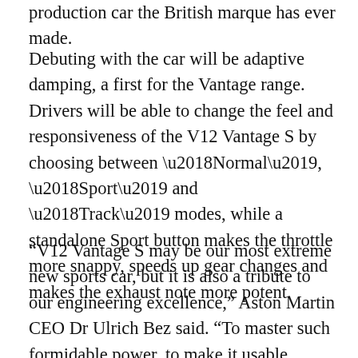production car the British marque has ever made.
Debuting with the car will be adaptive damping, a first for the Vantage range. Drivers will be able to change the feel and responsiveness of the V12 Vantage S by choosing between ‘Normal’, ‘Sport’ and ‘Track’ modes, while a standalone Sport button makes the throttle more snappy, speeds up gear changes and makes the exhaust note more potent.
“V12 Vantage S may be our most extreme new sports car, but it is also a tribute to our engineering excellence,” Aston Martin CEO Dr Ulrich Bez said. “To master such formidable power, to make it usable and controllable, the responsibility that comes to…